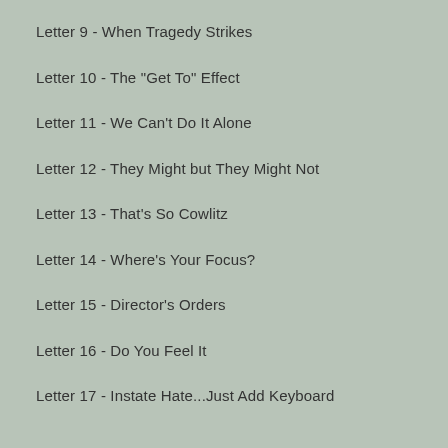Letter 9 - When Tragedy Strikes
Letter 10 - The "Get To" Effect
Letter 11 - We Can't Do It Alone
Letter 12 - They Might but They Might Not
Letter 13 - That's So Cowlitz
Letter 14 - Where's Your Focus?
Letter 15 - Director's Orders
Letter 16 - Do You Feel It
Letter 17 - Instate Hate...Just Add Keyboard